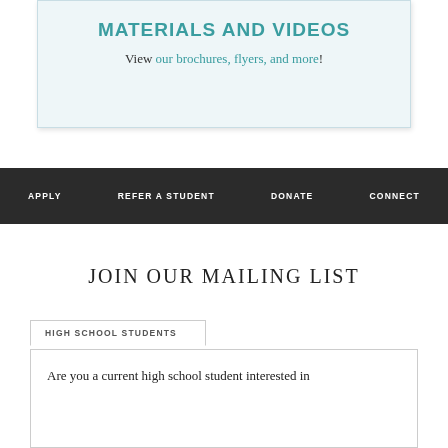MATERIALS AND VIDEOS
View our brochures, flyers, and more!
APPLY   REFER A STUDENT   DONATE   CONNECT
JOIN OUR MAILING LIST
HIGH SCHOOL STUDENTS
Are you a current high school student interested in